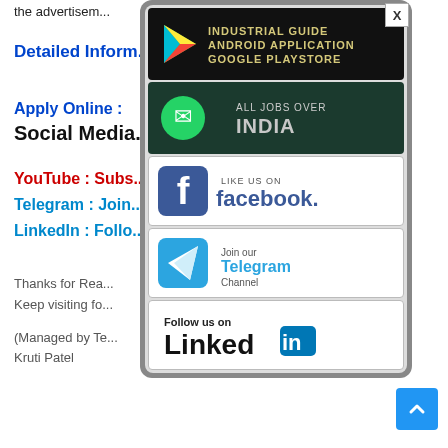the advertisement
Detailed Inform...
Apply Online :
Social Media
YouTube : Subs...
Telegram : Join...
LinkedIn : Follo...
Thanks for Rea...
Keep visiting fo...
(Managed by Te...
Kruti Patel
[Figure (infographic): Popup modal with social media app banners: Industrial Guide Android Application on Google Playstore (dark banner), All Jobs Over India (WhatsApp, dark green banner), Like us on Facebook (white banner), Join our Telegram Channel (white banner), Follow us on LinkedIn (white banner). Has a close button X in top right.]
[Figure (other): Blue scroll-to-top arrow button in bottom right corner]